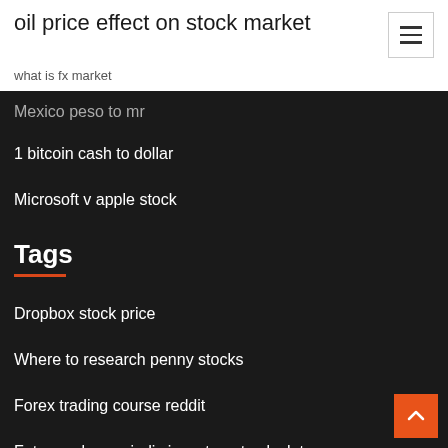oil price effect on stock market
what is fx market
Mexico peso to mr
1 bitcoin cash to dollar
Microsoft v apple stock
Tags
Dropbox stock price
Where to research penny stocks
Forex trading course reddit
Future value periodic investment calculator
Etrade intraday charts